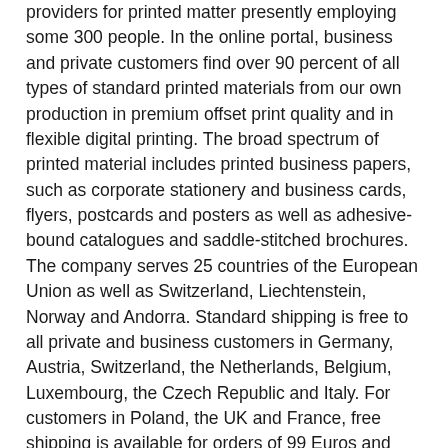providers for printed matter presently employing some 300 people. In the online portal, business and private customers find over 90 percent of all types of standard printed materials from our own production in premium offset print quality and in flexible digital printing. The broad spectrum of printed material includes printed business papers, such as corporate stationery and business cards, flyers, postcards and posters as well as adhesive-bound catalogues and saddle-stitched brochures. The company serves 25 countries of the European Union as well as Switzerland, Liechtenstein, Norway and Andorra. Standard shipping is free to all private and business customers in Germany, Austria, Switzerland, the Netherlands, Belgium, Luxembourg, the Czech Republic and Italy. For customers in Poland, the UK and France, free shipping is available for orders of 99 Euros and above. For the exemplary business development, the online print shop received an award as